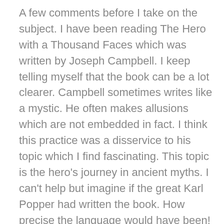A few comments before I take on the subject. I have been reading The Hero with a Thousand Faces which was written by Joseph Campbell. I keep telling myself that the book can be a lot clearer. Campbell sometimes writes like a mystic. He often makes allusions which are not embedded in fact. I think this practice was a disservice to his topic which I find fascinating. This topic is the hero's journey in ancient myths. I can't help but imagine if the great Karl Popper had written the book. How precise the language would have been! I have respect for Karl Popper. He makes a conscious effort to avoid vagueness in his writing. He succeeded in doing this even when his subject was complex. So I am grateful for the Power of Myth interviews because it presents Campbell's ideas without the accompanying esoteric language. Sometimes I am